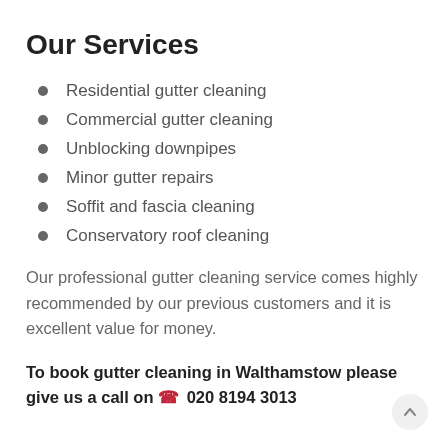Our Services
Residential gutter cleaning
Commercial gutter cleaning
Unblocking downpipes
Minor gutter repairs
Soffit and fascia cleaning
Conservatory roof cleaning
Our professional gutter cleaning service comes highly recommended by our previous customers and it is excellent value for money.
To book gutter cleaning in Walthamstow please give us a call on 📞 020 8194 3013